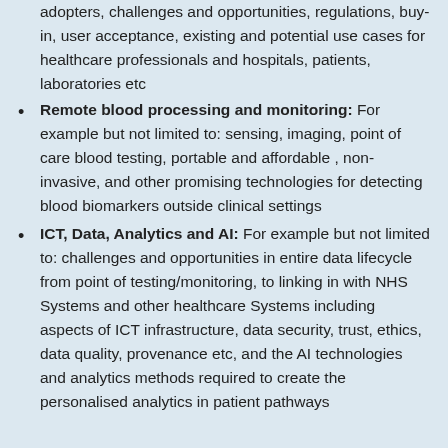adopters, challenges and opportunities, regulations, buy-in, user acceptance, existing and potential use cases for healthcare professionals and hospitals, patients, laboratories etc
Remote blood processing and monitoring: For example but not limited to: sensing, imaging, point of care blood testing, portable and affordable , non-invasive, and other promising technologies for detecting blood biomarkers outside clinical settings
ICT, Data, Analytics and AI: For example but not limited to: challenges and opportunities in entire data lifecycle from point of testing/monitoring, to linking in with NHS Systems and other healthcare Systems including aspects of ICT infrastructure, data security, trust, ethics, data quality, provenance etc, and the AI technologies and analytics methods required to create the personalised analytics in patient pathways